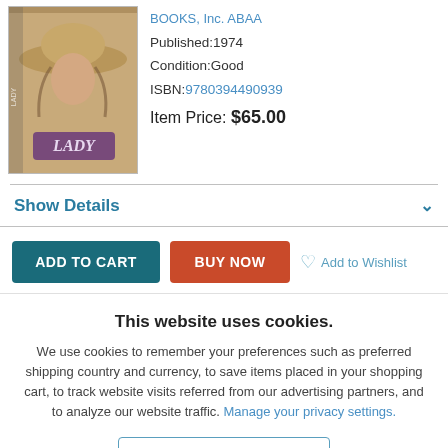[Figure (photo): Book cover image showing a woman in a wide-brimmed hat with the title 'LADY' in a purple/maroon label at the bottom]
BOOKS, Inc. ABAA
Published:1974
Condition:Good
ISBN:9780394490939
Item Price: $65.00
Show Details
ADD TO CART   BUY NOW   ♡ Add to Wishlist
This website uses cookies.
We use cookies to remember your preferences such as preferred shipping country and currency, to save items placed in your shopping cart, to track website visits referred from our advertising partners, and to analyze our website traffic. Manage your privacy settings.
AGREE AND CLOSE